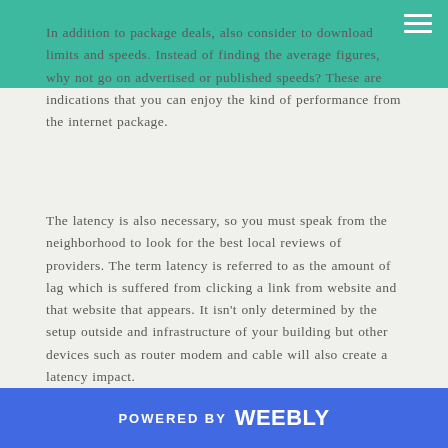In addition to package deals, also consider to download limits and speeds. Instead of finding the average figures, why not go on advertised or published speeds? These are indications that you can enjoy the kind of performance from the internet package.
The latency is also necessary, so you must speak from the neighborhood to look for the best local reviews of providers. The term latency is referred to as the amount of lag which is suffered from clicking a link from website and that website that appears. It isn't only determined by the setup outside and infrastructure of your building but other devices such as router modem and cable will also create a latency impact.
POWERED BY weebly